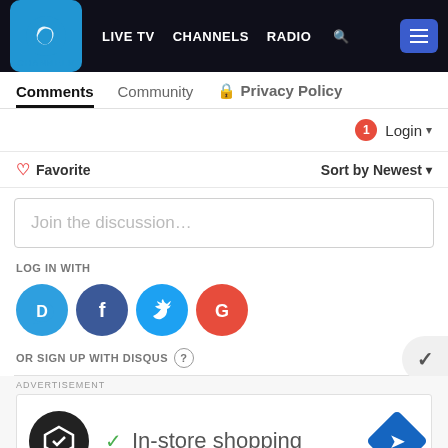[Figure (screenshot): Channels TV website navigation bar with logo, LIVE TV, CHANNELS, RADIO links and hamburger menu button]
Comments  Community  🔒 Privacy Policy
🔔1  Login ▾
♡ Favorite    Sort by Newest ▾
Join the discussion...
LOG IN WITH
[Figure (infographic): Social login icons: Disqus (D), Facebook (f), Twitter bird, Google (G)]
OR SIGN UP WITH DISQUS ?
[Figure (infographic): Advertisement: In-store shopping ad with logo and navigation icon]